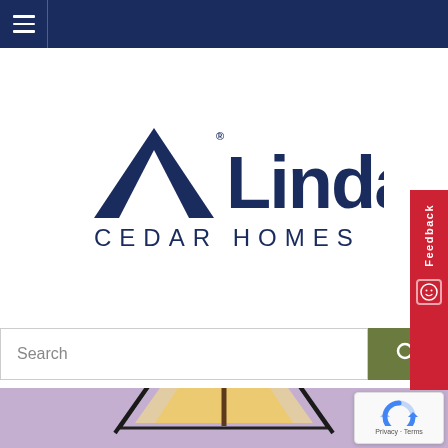Navigation bar with hamburger menu
[Figure (logo): Lindal Cedar Homes logo — dark blue triangle/mountain icon with registered trademark, large 'Lindal' wordmark, and 'CEDAR HOMES' subtitle in spaced capitals]
[Figure (screenshot): Search bar with 'Search' placeholder text and olive/green search button with magnifying glass icon, plus red Feedback tab on right edge]
[Figure (photo): Bottom portion of a Lindal Cedar Home A-frame structure with illuminated triangular glass facade against a lavender/purple dusk sky, with reCAPTCHA badge overlay in lower right]